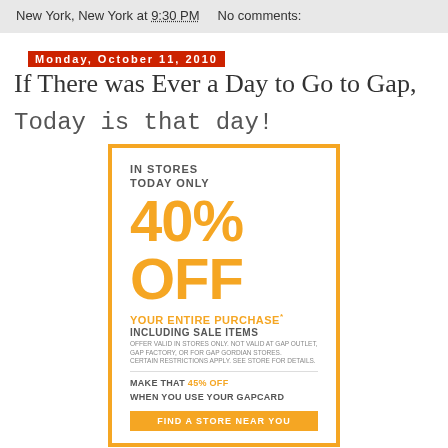New York, New York at 9:30 PM    No comments:
Monday, October 11, 2010
If There was Ever a Day to Go to Gap,
Today is that day!
[Figure (infographic): Gap store advertisement: IN STORES TODAY ONLY 40% OFF YOUR ENTIRE PURCHASE* INCLUDING SALE ITEMS. MAKE THAT 45% OFF WHEN YOU USE YOUR GAPCARD. FIND A STORE NEAR YOU.]